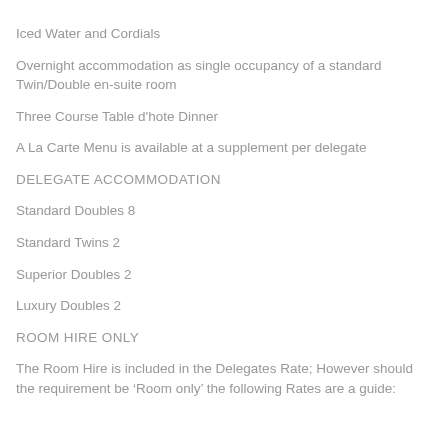Iced Water and Cordials
Overnight accommodation as single occupancy of a standard Twin/Double en-suite room
Three Course Table d'hote Dinner
A La Carte Menu is available at a supplement per delegate
DELEGATE ACCOMMODATION
Standard Doubles 8
Standard Twins 2
Superior Doubles 2
Luxury Doubles 2
ROOM HIRE ONLY
The Room Hire is included in the Delegates Rate; However should the requirement be ‘Room only’ the following Rates are a guide: